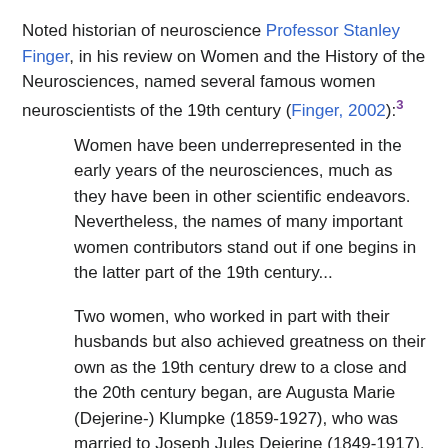Noted historian of neuroscience Professor Stanley Finger, in his review on Women and the History of the Neurosciences, named several famous women neuroscientists of the 19th century (Finger, 2002):3
Women have been underrepresented in the early years of the neurosciences, much as they have been in other scientific endeavors. Nevertheless, the names of many important women contributors stand out if one begins in the latter part of the 19th century...
Two women, who worked in part with their husbands but also achieved greatness on their own as the 19th century drew to a close and the 20th century began, are Augusta Marie (Dejerine-) Klumpke (1859-1927), who was married to Joseph Jules Dejerine (1849-1917), and Cécile Mugnier Vogt (1875-1962), who was married to Oskar Vogt (1870-1950).
...